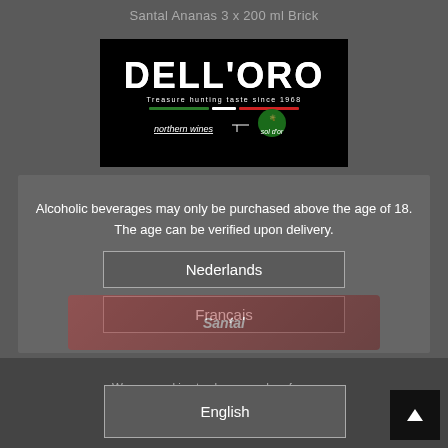Santal Ananas 3 x 200 ml Brick
[Figure (logo): DELL'ORO logo with tagline 'Treasure hunting taste since 1968', northern wines and sol d'or branding on black background]
Alcoholic beverages may only be purchased above the age of 18. The age can be verified upon delivery.
Nederlands
Français
English
We use cookies to change and preferences.
Ok
Decline